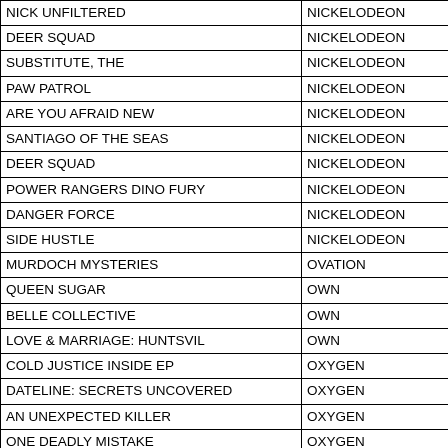| Show | Network |
| --- | --- |
| NICK UNFILTERED | NICKELODEON |
| DEER SQUAD | NICKELODEON |
| SUBSTITUTE, THE | NICKELODEON |
| PAW PATROL | NICKELODEON |
| ARE YOU AFRAID NEW | NICKELODEON |
| SANTIAGO OF THE SEAS | NICKELODEON |
| DEER SQUAD | NICKELODEON |
| POWER RANGERS DINO FURY | NICKELODEON |
| DANGER FORCE | NICKELODEON |
| SIDE HUSTLE | NICKELODEON |
| MURDOCH MYSTERIES | OVATION |
| QUEEN SUGAR | OWN |
| BELLE COLLECTIVE | OWN |
| LOVE & MARRIAGE: HUNTSVIL | OWN |
| COLD JUSTICE INSIDE EP | OXYGEN |
| DATELINE: SECRETS UNCOVERED | OXYGEN |
| AN UNEXPECTED KILLER | OXYGEN |
| ONE DEADLY MISTAKE | OXYGEN |
| KILLER MOTIVE | OXYGEN |
| EXHUMED | OXYGEN |